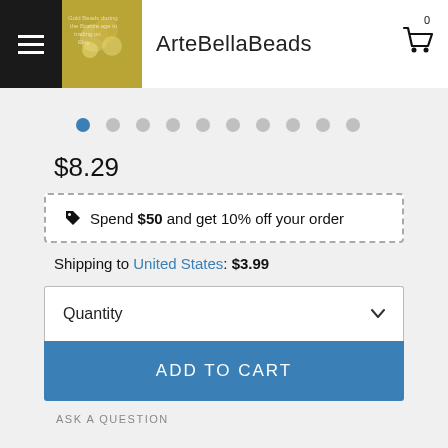ArteBellaBeads
$8.29
🏷 Spend $50 and get 10% off your order
Shipping to United States: $3.99
Quantity
ADD TO CART
ASK A QUESTION